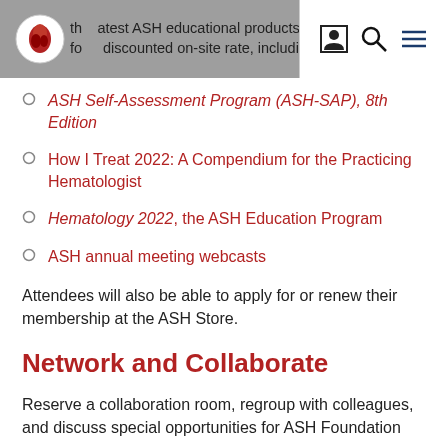the latest ASH educational products, which for a discounted on-site rate, including:
ASH Self-Assessment Program (ASH-SAP), 8th Edition
How I Treat 2022: A Compendium for the Practicing Hematologist
Hematology 2022, the ASH Education Program
ASH annual meeting webcasts
Attendees will also be able to apply for or renew their membership at the ASH Store.
Network and Collaborate
Reserve a collaboration room, regroup with colleagues, and discuss special opportunities for ASH Foundation...